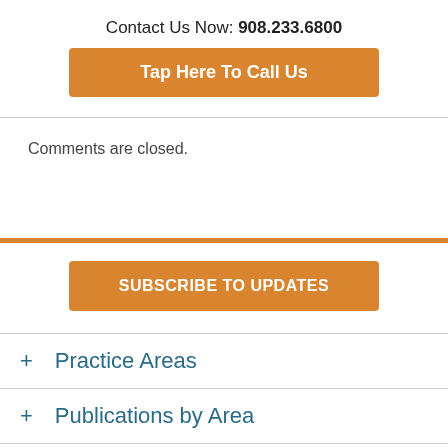Contact Us Now: 908.233.6800
Tap Here To Call Us
Comments are closed.
SUBSCRIBE TO UPDATES
+ Practice Areas
+ Publications by Area